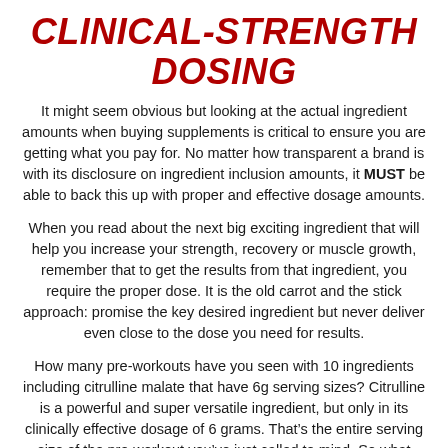CLINICAL-STRENGTH DOSING
It might seem obvious but looking at the actual ingredient amounts when buying supplements is critical to ensure you are getting what you pay for. No matter how transparent a brand is with its disclosure on ingredient inclusion amounts, it MUST be able to back this up with proper and effective dosage amounts.
When you read about the next big exciting ingredient that will help you increase your strength, recovery or muscle growth, remember that to get the results from that ingredient, you require the proper dose. It is the old carrot and the stick approach: promise the key desired ingredient but never deliver even close to the dose you need for results.
How many pre-workouts have you seen with 10 ingredients including citrulline malate that have 6g serving sizes? Citrulline is a powerful and super versatile ingredient, but only in its clinically effective dosage of 6 grams. That’s the entire serving size of the pre-workout you’ve just called to mind. So what about the other 9 ingredients? What about the 2.5 to 3g of flavouring required to make the product taste good?